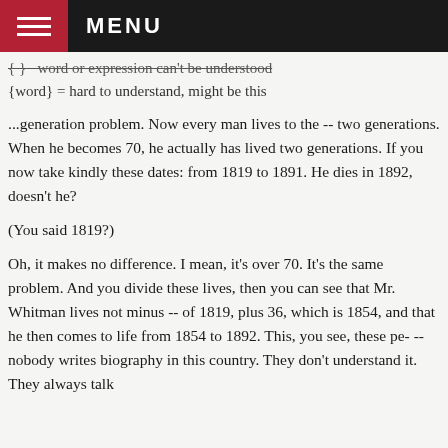MENU
{ } = word or expression can't be understood
{word} = hard to understand, might be this
...generation problem. Now every man lives to the -- two generations. When he becomes 70, he actually has lived two generations. If you now take kindly these dates: from 1819 to 1891. He dies in 1892, doesn't he?
(You said 1819?)
Oh, it makes no difference. I mean, it's over 70. It's the same problem. And you divide these lives, then you can see that Mr. Whitman lives not minus -- of 1819, plus 36, which is 1854, and that he then comes to life from 1854 to 1892. This, you see, these pe- -- nobody writes biography in this country. They don't understand it. They always talk